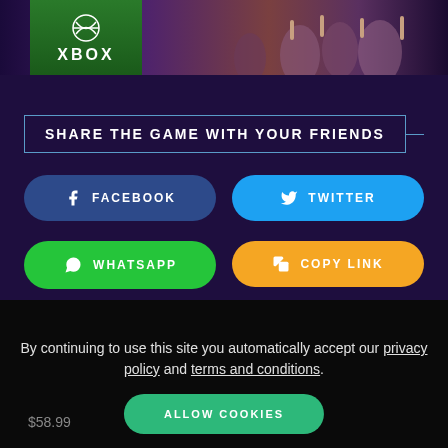[Figure (screenshot): Xbox game banner image with crowd/concert scene in purple/dark tones, with Xbox green badge at top left]
SHARE THE GAME WITH YOUR FRIENDS
FACEBOOK
TWITTER
WHATSAPP
COPY LINK
By continuing to use this site you automatically accept our privacy policy and terms and conditions.
ALLOW COOKIES
$58.99